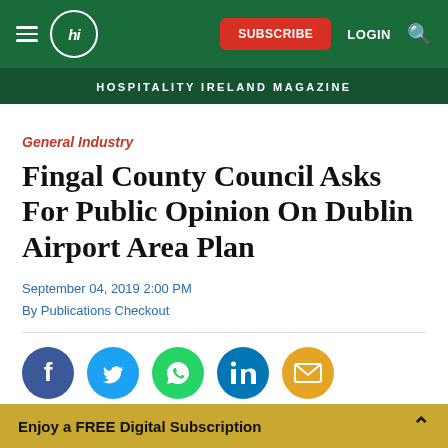hi | HOSPITALITY IRELAND MAGAZINE — navigation bar with Subscribe, Login, Search
HOSPITALITY IRELAND MAGAZINE
General Industry
Fingal County Council Asks For Public Opinion On Dublin Airport Area Plan
September 04, 2019 2:00 PM
By Publications Checkout
[Figure (infographic): Social share icons: Facebook (dark blue), Twitter (light blue), WhatsApp (green), LinkedIn (dark blue), Email (orange)]
Enjoy a FREE Digital Subscription